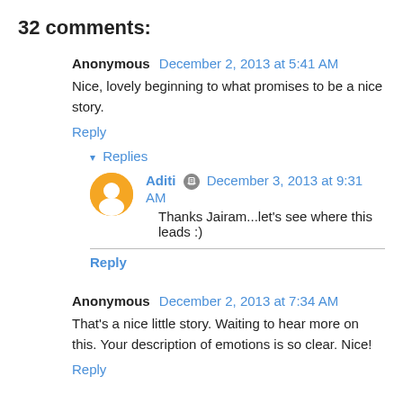32 comments:
Anonymous December 2, 2013 at 5:41 AM
Nice, lovely beginning to what promises to be a nice story.
Reply
▾ Replies
Aditi December 3, 2013 at 9:31 AM
Thanks Jairam...let's see where this leads :)
Reply
Anonymous December 2, 2013 at 7:34 AM
That's a nice little story. Waiting to hear more on this. Your description of emotions is so clear. Nice!
Reply